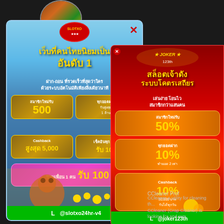[Figure (screenshot): Left Thai online slot/gambling advertisement banner (slotxo24hr-v4) with blue gradient background showing bonuses: new member 500, deposit bonus up to 1 million, cashback 5000, check-in 100, refer friend 100. Line contact @slotxo24hr-v4.]
[Figure (screenshot): Right red Thai online slot/gambling advertisement banner (joker123th) with Joker logo, showing: new member 50%, every deposit 10% up to 2x, cashback 10% 30000 baht daily. Line contact @joker123th.]
CCleaner Prof
CCleaner a utility for cleaning th... CCleaner (Crap Cleaner) is looking for and rem